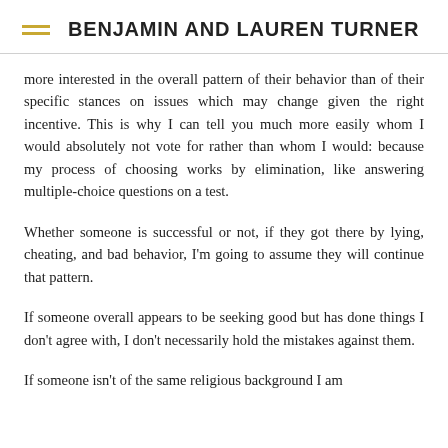BENJAMIN AND LAUREN TURNER
more interested in the overall pattern of their behavior than of their specific stances on issues which may change given the right incentive. This is why I can tell you much more easily whom I would absolutely not vote for rather than whom I would: because my process of choosing works by elimination, like answering multiple-choice questions on a test.
Whether someone is successful or not, if they got there by lying, cheating, and bad behavior, I'm going to assume they will continue that pattern.
If someone overall appears to be seeking good but has done things I don't agree with, I don't necessarily hold the mistakes against them.
If someone isn't of the same religious background I am